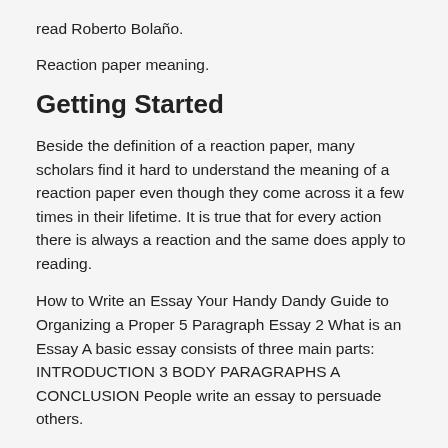read Roberto Bolaño.
Reaction paper meaning.
Getting Started
Beside the definition of a reaction paper, many scholars find it hard to understand the meaning of a reaction paper even though they come across it a few times in their lifetime. It is true that for every action there is always a reaction and the same does apply to reading.
How to Write an Essay Your Handy Dandy Guide to Organizing a Proper 5 Paragraph Essay 2 What is an Essay A basic essay consists of three main parts: INTRODUCTION 3 BODY PARAGRAPHS A CONCLUSION People write an essay to persuade others.